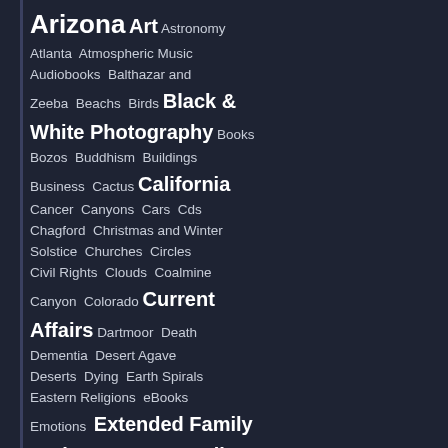Arizona Art Astronomy Atlanta Atmospheric Music Audiobooks Balthazar and Zeeba Beachs Birds Black & White Photography Books Bozos Buddhism Buildings Business Cactus California Cancer Canyons Cars Cds Chagford Christmas and Winter Solstice Churches Circles Civil Rights Clouds Coalmine Canyon Colorado Current Affairs Dartmoor Death Dementia Desert Agave Deserts Dying Earth Spirals Eastern Religions eBooks Emotions Extended Family Series Fabric Faith Family Fantasy & Science Fiction Fatal Figures Fezziwig Press Fiction Film Fire Flame Spirals Flora & Fauna Flowers Forgiveness Fun Facts Gabby Giffords Good Folk Grand Canyon Graphic Pen Images Greensboro, NC Grief and Loss Hardwood Highways History Home Hoop Dancing Hope Hopi Horses Humor Infrared Photography Kaleidoscopes Los Angeles Love Marriage Mary Jenks